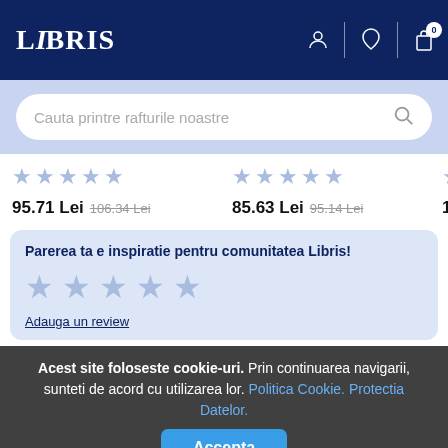LIBRIS
Cauta printre rafturile noastre
95.71 Lei 106.34 Lei
85.63 Lei 95.14 Lei
Parerea ta e inspiratie pentru comunitatea Libris!
Adauga un review
Acest site foloseste cookie-uri. Prin continuarea navigarii, sunteti de acord cu utilizarea lor. Politica Cookie. Protectia Datelor.
Accepta